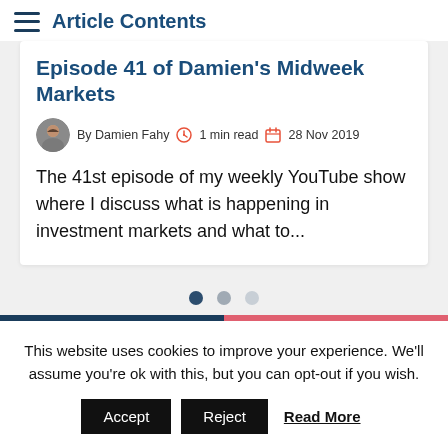Article Contents
Episode 41 of Damien's Midweek Markets
By Damien Fahy  1 min read  28 Nov 2019
The 41st episode of my weekly YouTube show where I discuss what is happening in investment markets and what to...
This website uses cookies to improve your experience. We'll assume you're ok with this, but you can opt-out if you wish.